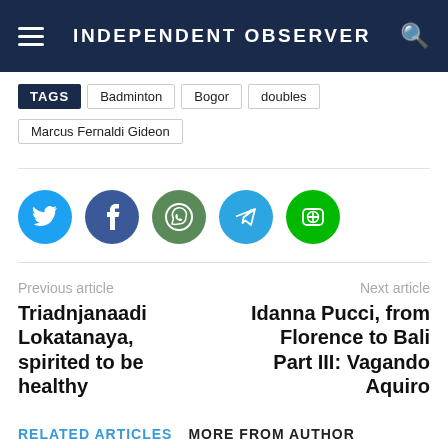INDEPENDENT OBSERVER
TAGS   Badminton   Bogor   doubles   Marcus Fernaldi Gideon
[Figure (infographic): Social media share buttons: Twitter (blue circle), Facebook (dark blue circle), WhatsApp (green circle), Telegram (light blue circle), Line (bright green circle)]
Previous article
Triadnjanaadi Lokatanaya, spirited to be healthy
Next article
Idanna Pucci, from Florence to Bali Part III: Vagando Aquiro
RELATED ARTICLES   MORE FROM AUTHOR